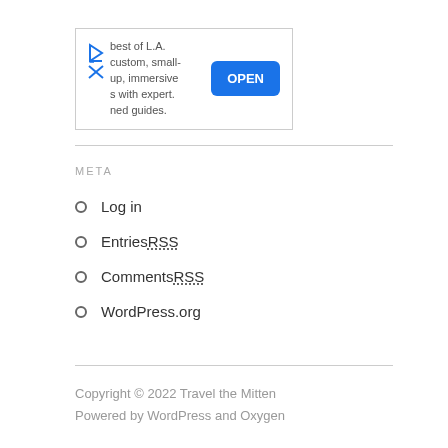[Figure (other): Advertisement banner with text 'best of L.A. custom, small-up, immersive s with expert. ned guides.' and a blue OPEN button, with a play/close icon on the left]
META
Log in
Entries RSS
Comments RSS
WordPress.org
Copyright © 2022 Travel the Mitten
Powered by WordPress and Oxygen